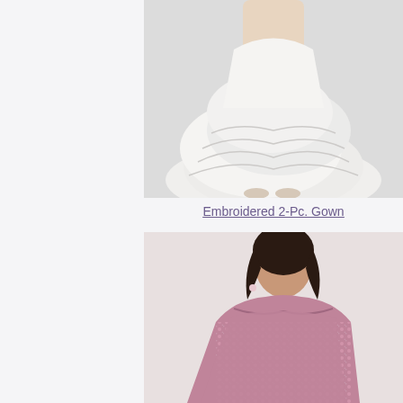[Figure (photo): A model wearing a white flowing layered tulle wedding gown, showing the lower half of the dress and feet, against a light background.]
Embroidered 2-Pc. Gown
[Figure (photo): A plus-size model wearing a rose gold / pink sequined off-the-shoulder form-fitting dress, showing from the waist up, against a light background.]